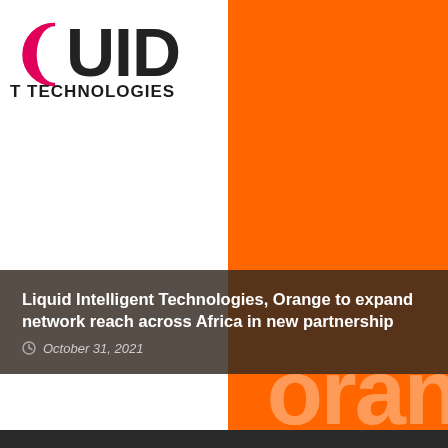[Figure (logo): Liquid Intelligent Technologies logo — large bold text 'QUID' with a pink/magenta stylized L on the left, and below it 'T TECHNOLOGIES' in dark bold sans-serif. An orange square block occupies the upper right portion with the partially visible white text 'oran' (part of 'orange' logo).]
Liquid Intelligent Technologies, Orange to expand network reach across Africa in new partnership
October 31, 2021